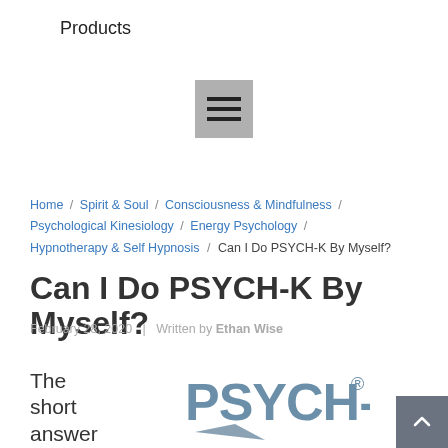Products
[Figure (other): Hamburger menu icon button with three horizontal lines on a gray square background]
Home / Spirit & Soul / Consciousness & Mindfulness / Psychological Kinesiology / Energy Psychology / Hypnotherapy & Self Hypnosis / Can I Do PSYCH-K By Myself?
Can I Do PSYCH-K By Myself?
February 28, 2020  |  Written by Ethan Wise
The short answer is yes
[Figure (logo): PSYCH-K® logo in steel blue color with stylized text]